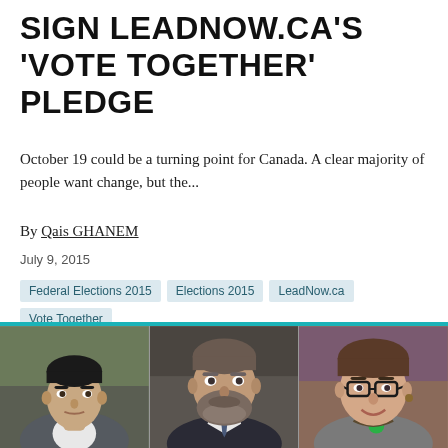SIGN LEADNOW.CA'S 'VOTE TOGETHER' PLEDGE
October 19 could be a turning point for Canada. A clear majority of people want change, but the...
By Qais GHANEM
July 9, 2015
Federal Elections 2015
Elections 2015
LeadNow.ca
Vote Together
[Figure (photo): Three political figures shown in a horizontal strip: a young dark-haired man in a suit on the left, a middle-aged bearded man in a tie in the center, and a woman with glasses and a green button on the right.]